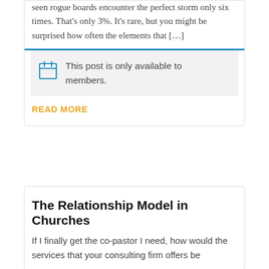seen rogue boards encounter the perfect storm only six times.  That's only 3%.  It's rare, but you might be surprised how often the elements that […]
This post is only available to members.
READ MORE
The Relationship Model in Churches
If I finally get the co-pastor I need, how would the services that your consulting firm offers be